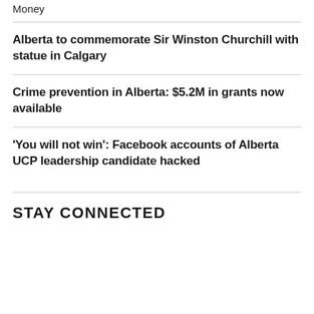Money
Alberta to commemorate Sir Winston Churchill with statue in Calgary
Crime prevention in Alberta: $5.2M in grants now available
'You will not win': Facebook accounts of Alberta UCP leadership candidate hacked
STAY CONNECTED